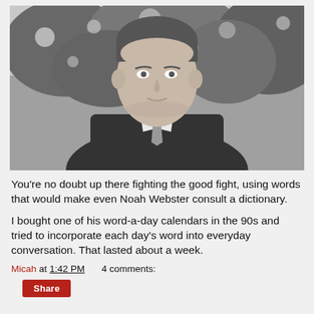[Figure (photo): Black and white portrait photograph of a man in a dark suit and tie, smiling slightly, with trees/foliage in the background. The man appears to be from mid-20th century based on the photo style.]
You're no doubt up there fighting the good fight, using words that would make even Noah Webster consult a dictionary.
I bought one of his word-a-day calendars in the 90s and tried to incorporate each day's word into everyday conversation. That lasted about a week.
Micah at 1:42 PM    4 comments:
Share